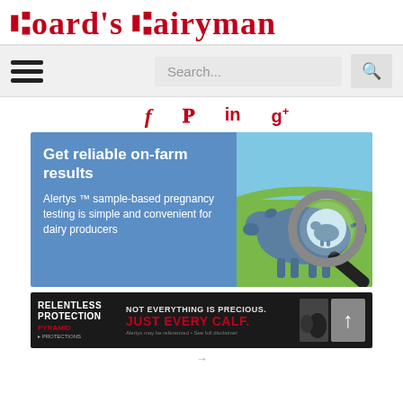Hoard's Dairyman
[Figure (screenshot): Website navigation bar with hamburger menu icon on left and search box with magnifying glass icon on right]
[Figure (infographic): Social media icons: Facebook (f), Twitter (bird), LinkedIn (in), Google+ (g+) in red]
[Figure (infographic): Alertys ad: 'Get reliable on-farm results. Alertys sample-based pregnancy testing is simple and convenient for dairy producers' with illustration of cow and magnifying glass showing calf]
[Figure (infographic): Relentless Protection / Pyramid banner ad: 'NOT EVERYTHING IS PRECIOUS. JUST EVERY CALF.' with calf image and up arrow button]
→